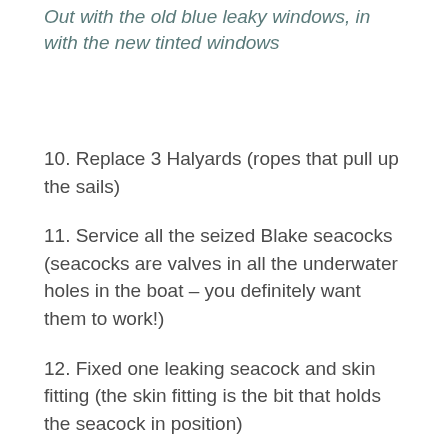Out with the old blue leaky windows, in with the new tinted windows
10. Replace 3 Halyards (ropes that pull up the sails)
11. Service all the seized Blake seacocks (seacocks are valves in all the underwater holes in the boat – you definitely want them to work!)
12. Fixed one leaking seacock and skin fitting (the skin fitting is the bit that holds the seacock in position)
13. Remove old rusty gas boiler.  Speaking of boiler, hows that cuppa going?  Time for a refill?  Go on, treat